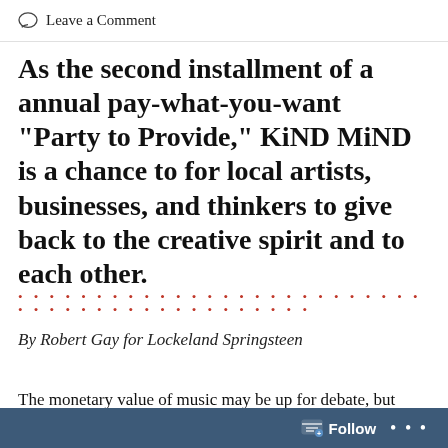Leave a Comment
As the second installment of a annual pay-what-you-want "Party to Provide," KiND MiND is a chance to for local artists, businesses, and thinkers to give back to the creative spirit and to each other.
· · · · · · · · · · · · · · · · · · · · · · · · · · · · · · · · · · · · · · · · · · ·
By Robert Gay for Lockeland Springsteen
The monetary value of music may be up for debate, but
Follow ...